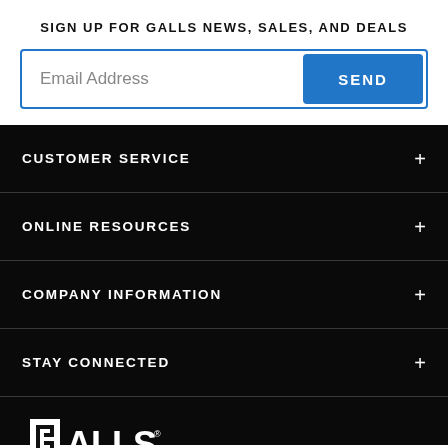SIGN UP FOR GALLS NEWS, SALES, AND DEALS
Email Address
SEND
CUSTOMER SERVICE
ONLINE RESOURCES
COMPANY INFORMATION
STAY CONNECTED
[Figure (logo): Galls brand logo in white on black background]